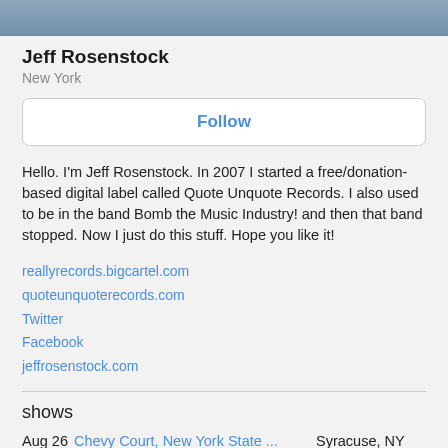[Figure (photo): Cropped top portion of a profile photo showing a person outdoors]
Jeff Rosenstock
New York
Follow
Hello. I'm Jeff Rosenstock. In 2007 I started a free/donation-based digital label called Quote Unquote Records. I also used to be in the band Bomb the Music Industry! and then that band stopped. Now I just do this stuff. Hope you like it!
reallyrecords.bigcartel.com
quoteunquoterecords.com
Twitter
Facebook
jeffrosenstock.com
shows
Aug 26   Chevy Court, New York State ...   Syracuse, NY
Sep 16   Douglas Park Cultural & Com...   Chicago, IL